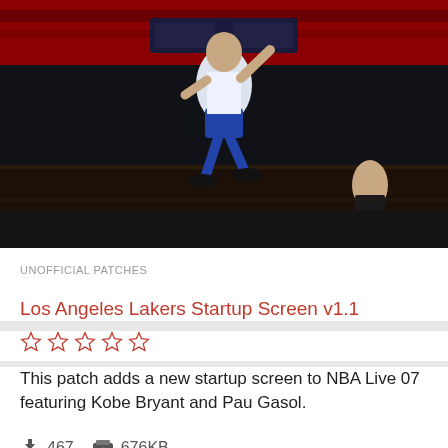[Figure (screenshot): Basketball game screenshot showing a player dunking in an arena with red banners, NBA Live 07 game scene]
UNOFFICIAL PATCHES
Los Angeles Lakers Startup Screen v1.1
☆ ☆ ☆ ☆ ☆
This patch adds a new startup screen to NBA Live 07 featuring Kobe Bryant and Pau Gasol.
467   676KB
[Figure (screenshot): Basketball game screenshot with 'NO SCREENSHOT' overlay text on a semi-transparent dark band, showing arena and player in background]